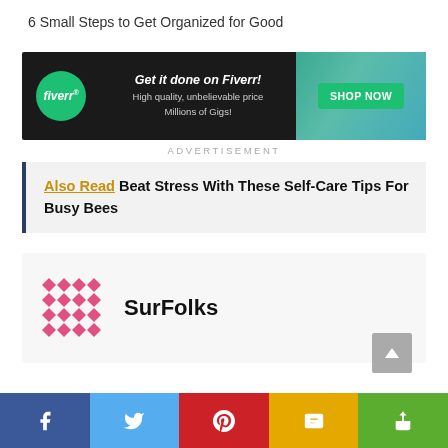6 Small Steps to Get Organized for Good
[Figure (infographic): Fiverr advertisement banner: dark background with Fiverr green circle logo on left, text 'Get it done on Fiverr! High quality, unbelievable price Millions of Gigs!' in center, and green 'SHOP NOW' button on right with teal desk background image]
ADVERTISEMENT
Also Read  Beat Stress With These Self-Care Tips For Busy Bees
[Figure (logo): SurFolks logo: pink/red diamond quilt pattern grid icon on left, bold 'SurFolks' text on right]
[Figure (infographic): Social share bar at bottom with 5 buttons: Facebook (dark blue), Twitter (light blue), Pinterest (red), SMS (yellow/gold), Share (green)]